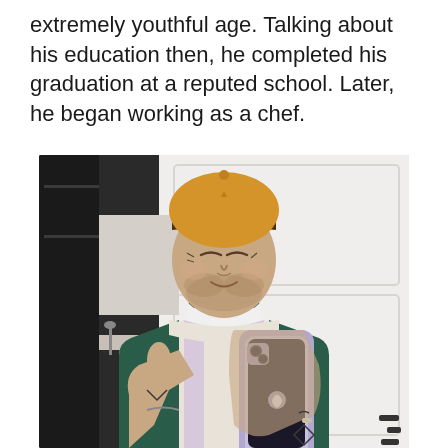extremely youthful age. Talking about his education then, he completed his graduation at a reputed school. Later, he began working as a chef.
[Figure (photo): A man wearing an orange/tan baseball cap, a bandana scarf around his neck, a green and white jacket/hoodie, taking a mirror selfie with a purple iPhone. He has tattoos on his hands and fingers, a beard with some stubble, and is giving a thumbs-up gesture. The background shows a white paneled door and a kitchen area to the left.]